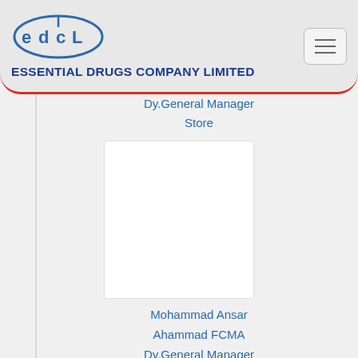[Figure (logo): EDCL logo with company name Essential Drugs Company Limited]
Dy.General Manager
Store
[Figure (photo): Profile photo placeholder (white box)]
Mohammad Ansar Ahammad FCMA
Dy.General Manager
Accounts & Finance